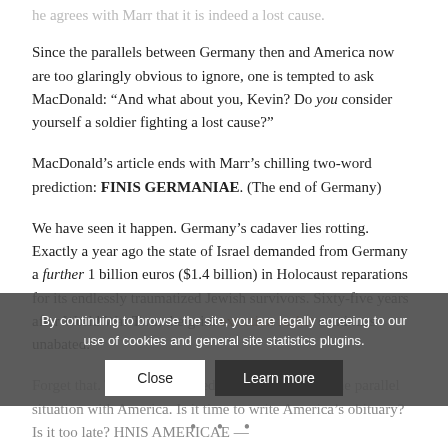he agrees with Marr that it is indeed a lost cause.
Since the parallels between Germany then and America now are too glaringly obvious to ignore, one is tempted to ask MacDonald: “And what about you, Kevin? Do you consider yourself a soldier fighting a lost cause?”
MacDonald’s article ends with Marr’s chilling two-word prediction: FINIS GERMANIAE. (The end of Germany)
We have seen it happen. Germany’s cadaver lies rotting. Exactly a year ago the state of Israel demanded from Germany a further 1 billion euros ($1.4 billion) in Holocaust reparations for its endlessly traumatized Jewish survivors. Sixty-five years after World War Two, the grim extortion racket continues unabated.
Forget that. The thing we need to consider now is the parallel situation with America. Is it time to write America’s obituary? Is it too late? HNIS AMERICAE —
By continuing to browse the site, you are legally agreeing to our use of cookies and general site statistics plugins.
Close
Learn more